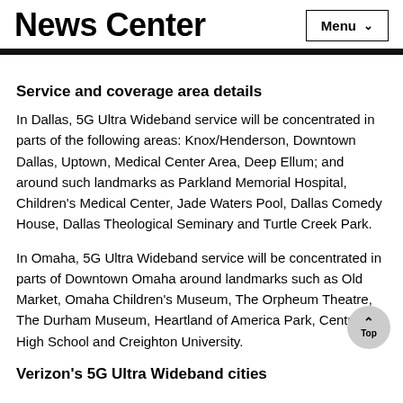News Center
Service and coverage area details
In Dallas, 5G Ultra Wideband service will be concentrated in parts of the following areas: Knox/Henderson, Downtown Dallas, Uptown, Medical Center Area, Deep Ellum; and around such landmarks as Parkland Memorial Hospital, Children's Medical Center, Jade Waters Pool, Dallas Comedy House, Dallas Theological Seminary and Turtle Creek Park.
In Omaha, 5G Ultra Wideband service will be concentrated in parts of Downtown Omaha around landmarks such as Old Market, Omaha Children's Museum, The Orpheum Theatre, The Durham Museum, Heartland of America Park, Central High School and Creighton University.
Verizon's 5G Ultra Wideband cities